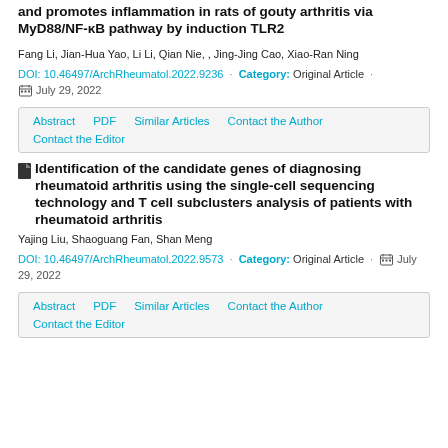and promotes inflammation in rats of gouty arthritis via MyD88/NF-κB pathway by induction TLR2
Fang Li, Jian-Hua Yao, Li Li, Qian Nie, , Jing-Jing Cao, Xiao-Ran Ning
DOI: 10.46497/ArchRheumatol.2022.9236 · Category: Original Article · July 29, 2022
Abstract | PDF | Similar Articles | Contact the Author | Contact the Editor
Identification of the candidate genes of diagnosing rheumatoid arthritis using the single-cell sequencing technology and T cell subclusters analysis of patients with rheumatoid arthritis
Yajing Liu, Shaoguang Fan, Shan Meng
DOI: 10.46497/ArchRheumatol.2022.9573 · Category: Original Article · July 29, 2022
Abstract | PDF | Similar Articles | Contact the Author | Contact the Editor